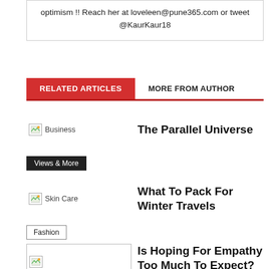optimism !! Reach her at loveleen@pune365.com or tweet @KaurKaur18
RELATED ARTICLES   MORE FROM AUTHOR
Business   The Parallel Universe
Views & More
Skin Care   What To Pack For Winter Travels
Fashion
Is Hoping For Empathy Too Much To Expect?
Views & More